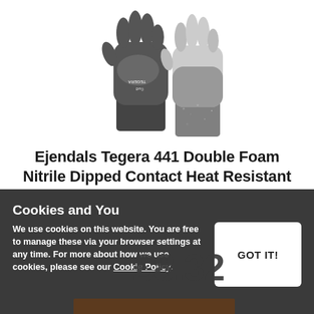[Figure (photo): Product photo of Ejendals Tegera 441 safety gloves — dark grey/black foam nitrile coating on upper, grey speckled cut-resistant liner, teal cuff trim. Two gloves shown cuff-up against white background.]
Ejendals Tegera 441 Double Foam Nitrile Dipped Contact Heat Resistant Safety Gloves
[Figure (other): Five empty/unfilled star rating icons in light grey, indicating no reviews yet.]
£8.32
Cookies and You
We use cookies on this website. You are free to manage these via your browser settings at any time. For more about how we use cookies, please see our Cookie Policy.
GOT IT!